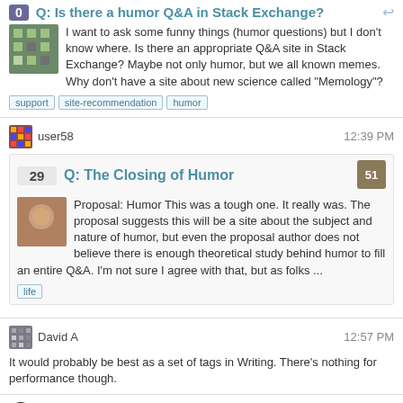Q: Is there a humor Q&A in Stack Exchange?
I want to ask some funny things (humor questions) but I don't know where. Is there an appropriate Q&A site in Stack Exchange? Maybe not only humor, but we all known memes. Why don't have a site about new science called "Memology"?
support  site-recommendation  humor
user58   12:39 PM
Q: The Closing of Humor
Proposal: Humor This was a tough one. It really was. The proposal suggests this will be a site about the subject and nature of humor, but even the proposal author does not believe there is enough theoretical study behind humor to fill an entire Q&A. I'm not sure I agree with that, but as folks ...
life
David A   12:57 PM
It would probably be best as a set of tags in Writing. There's nothing for performance though.
Meta Andrew T.   12:59 PM
Q: Why is the chicken crossing the road joke funny?
According to modern psychology why is the answer to the joke "Why did the chicken cross the road?" "To get the the other side." Funny? According to the relief theory, what are we relieved about? Could it be that the question invokes a feeling of stress when we don't know the answer?